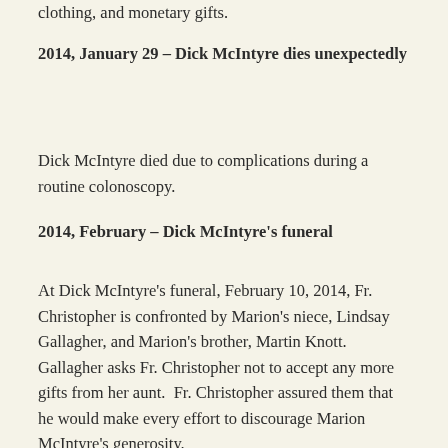clothing, and monetary gifts.
2014, January 29 – Dick McIntyre dies unexpectedly
Dick McIntyre died due to complications during a routine colonoscopy.
2014, February – Dick McIntyre's funeral
At Dick McIntyre's funeral, February 10, 2014, Fr. Christopher is confronted by Marion's niece, Lindsay Gallagher, and Marion's brother, Martin Knott.  Gallagher asks Fr. Christopher not to accept any more gifts from her aunt.  Fr. Christopher assured them that he would make every effort to discourage Marion McIntyre's generosity.